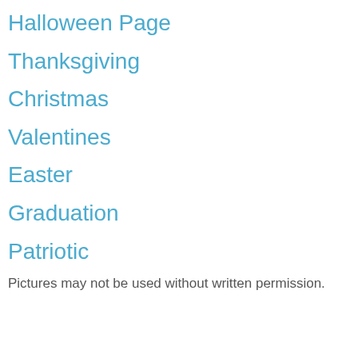Halloween Page
Thanksgiving
Christmas
Valentines
Easter
Graduation
Patriotic
Pictures may not be used without written permission.